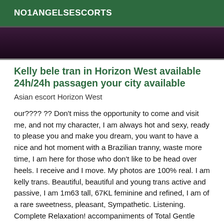NO1ANGELSESCORTS
[Figure (photo): Dark purple/maroon toned image strip, partially visible at top of page]
Kelly bele tran in Horizon West available 24h/24h passagen your city available
Asian escort Horizon West
our???? ?? Don't miss the opportunity to come and visit me, and not my character, I am always hot and sexy, ready to please you and make you dream, you want to have a nice and hot moment with a Brazilian tranny, waste more time, I am here for those who don't like to be head over heels. I receive and I move. My photos are 100% real. I am kelly trans. Beautiful, beautiful and young trans active and passive, I am 1m63 tall, 67KL feminine and refined, I am of a rare sweetness, pleasant, Sympathetic. Listening. Complete Relaxation! accompaniments of Total Gentle Relaxation . Relax I am very expert, honest and discreet. I enjoy the company of